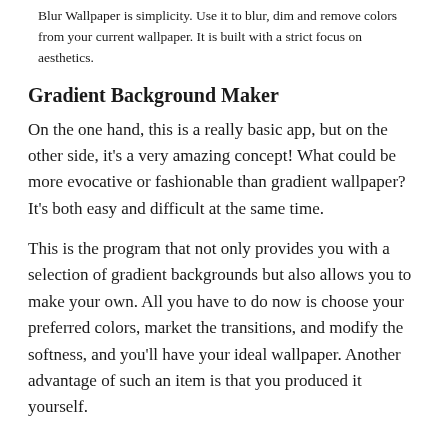Blur Wallpaper is simplicity. Use it to blur, dim and remove colors from your current wallpaper. It is built with a strict focus on aesthetics.
Gradient Background Maker
On the one hand, this is a really basic app, but on the other side, it's a very amazing concept! What could be more evocative or fashionable than gradient wallpaper? It's both easy and difficult at the same time.
This is the program that not only provides you with a selection of gradient backgrounds but also allows you to make your own. All you have to do now is choose your preferred colors, market the transitions, and modify the softness, and you'll have your ideal wallpaper. Another advantage of such an item is that you produced it yourself.